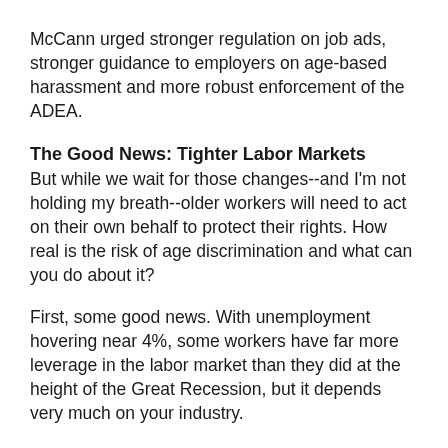McCann urged stronger regulation on job ads, stronger guidance to employers on age-based harassment and more robust enforcement of the ADEA.
The Good News: Tighter Labor Markets
But while we wait for those changes--and I'm not holding my breath--older workers will need to act on their own behalf to protect their rights. How real is the risk of age discrimination and what can you do about it?
First, some good news. With unemployment hovering near 4%, some workers have far more leverage in the labor market than they did at the height of the Great Recession, but it depends very much on your industry.
According to a study by the Conference Board, shortages